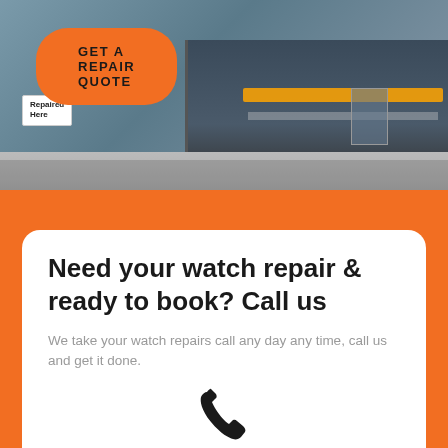[Figure (photo): Storefront of a repair shop with a 'Repaired Here' sign, street level exterior view]
GET A REPAIR QUOTE
Need your watch repair & ready to book? Call us
We take your watch repairs call any day any time, call us and get it done.
[Figure (illustration): Phone/telephone handset icon in dark color]
0000 000 0000